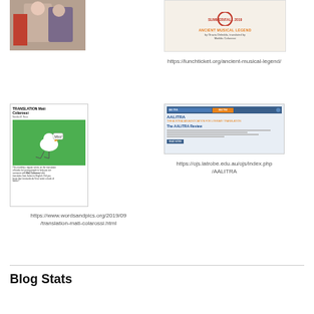[Figure (photo): Photo of people, partially visible at top of page]
[Figure (illustration): Book cover for 'Ancient Musical Legend' by Grazia Deledda, translated by Matilda Colarossi, with red badge and orange title]
https://lunchticket.org/ancient-musical-legend/
[Figure (illustration): Cover of 'Translation Mati Colarossi' showing a bird on green background with 'Moo!' speech bubble and text about translation of books for young people]
[Figure (screenshot): Screenshot of AALITRA website showing 'The AALITRA Review']
https://ojs.latrobe.edu.au/ojs/index.php/AALITRA
https://www.wordsandpics.org/2019/09/translation-mati-colarossi.html
Blog Stats